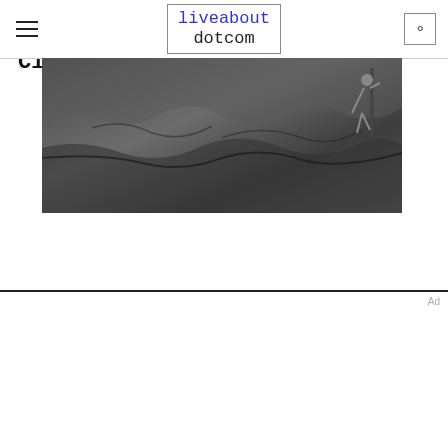liveabout dotcom
[Figure (photo): Rock climbing wall photo showing a climber on a rocky cliff face, black and white tones]
BASICS
What to Wear for Outdoor Rock Climbing
[Figure (illustration): LiveAbout dotcom advertisement banner with ski jumper illustration, colorful sparkles, and Dotdash Meredith logo. Text: We help people find answers, solve problems and get inspired.]